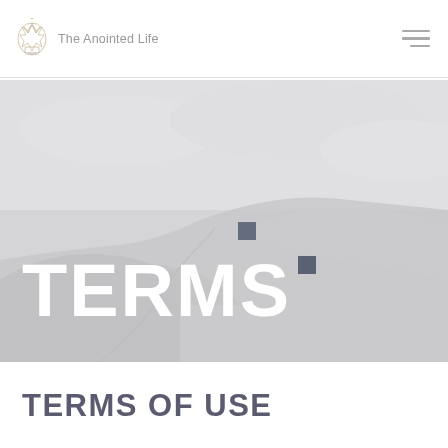The Anointed Life
[Figure (photo): Muted gray aerial/landscape photo of rocky terrain and paths overlaid with large white bold text 'TERMS' and two small dark square decorative elements]
TERMS OF USE